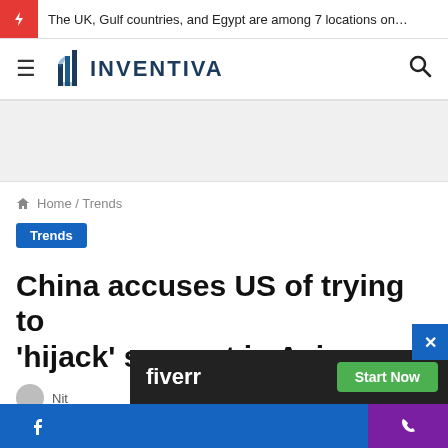The UK, Gulf countries, and Egypt are among 7 locations on…
[Figure (logo): Inventiva logo with stylized building/chart icon and INVENTIVA text in dark blue]
Home / Trends
Trends
China accuses US of trying to 'hijack' support in Asia
Nit…
[Figure (infographic): Fiverr advertisement banner with dark background, Fiverr logo in white, and green Start Now button]
Facebook icon | Phone icon